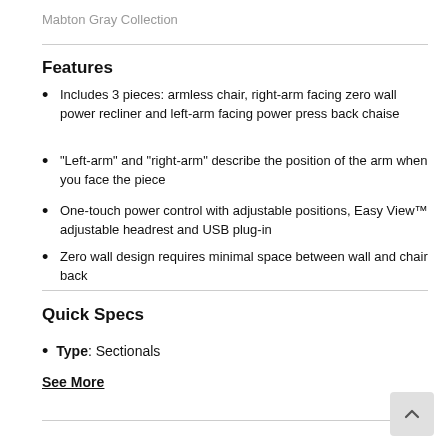Mabton Gray Collection
Features
Includes 3 pieces: armless chair, right-arm facing zero wall power recliner and left-arm facing power press back chaise
"Left-arm" and "right-arm" describe the position of the arm when you face the piece
One-touch power control with adjustable positions, Easy View™ adjustable headrest and USB plug-in
Zero wall design requires minimal space between wall and chair back
Quick Specs
Type: Sectionals
See More